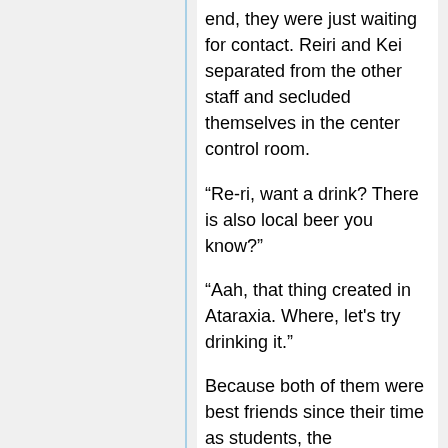end, they were just waiting for contact. Reiri and Kei separated from the other staff and secluded themselves in the center control room.
“Re-ri, want a drink? There is also local beer you know?”
“Aah, that thing created in Ataraxia. Where, let’s try drinking it.”
Because both of them were best friends since their time as students, the atmosphere between them was amiable. They were supposedly in the middle of duty, but the atmosphere was actually relaxed.
Reiri took out a beer bottle with Ataraxia label on it from the refrigerator and opened the cork with the corkscrew that Kei handed to her.